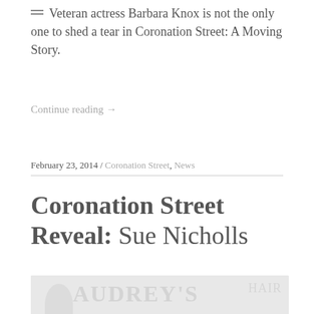Veteran actress Barbara Knox is not the only one to shed a tear in Coronation Street: A Moving Story.
Continue reading →
February 23, 2014 / Coronation Street, News
Coronation Street Reveal: Sue Nicholls
[Figure (photo): A faded/light image showing a salon or shop setting with text reading AUDREY'S and HAIR in the background, with a silhouetted figure visible.]